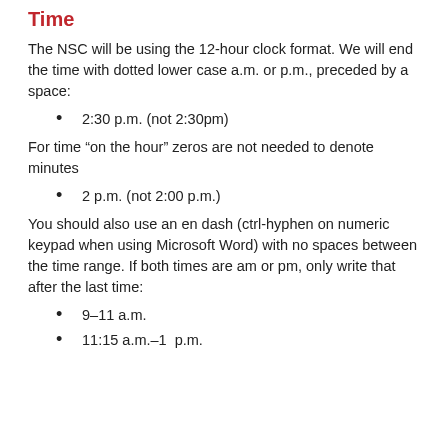Time
The NSC will be using the 12-hour clock format. We will end the time with dotted lower case a.m. or p.m., preceded by a space:
2:30 p.m. (not 2:30pm)
For time “on the hour” zeros are not needed to denote minutes
2 p.m. (not 2:00 p.m.)
You should also use an en dash (ctrl-hyphen on numeric keypad when using Microsoft Word) with no spaces between the time range. If both times are am or pm, only write that after the last time:
9–11 a.m.
11:15 a.m.–1  p.m.